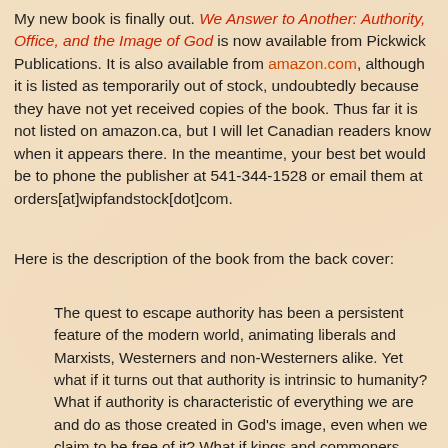My new book is finally out. We Answer to Another: Authority, Office, and the Image of God is now available from Pickwick Publications. It is also available from amazon.com, although it is listed as temporarily out of stock, undoubtedly because they have not yet received copies of the book. Thus far it is not listed on amazon.ca, but I will let Canadian readers know when it appears there. In the meantime, your best bet would be to phone the publisher at 541-344-1528 or email them at orders[at]wipfandstock[dot]com.
Here is the description of the book from the back cover:
The quest to escape authority has been a persistent feature of the modern world, animating liberals and Marxists, Westerners and non-Westerners alike. Yet what if it turns out that authority is intrinsic to humanity? What if authority is characteristic of everything we are and do as those created in God's image, even when we claim to be free of it? What if kings and commoners, teachers and students, employers